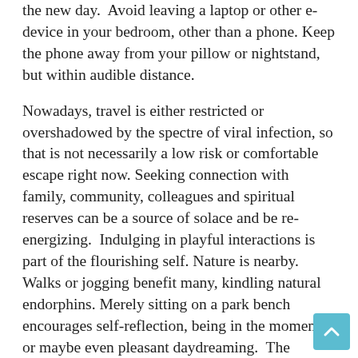the new day.  Avoid leaving a laptop or other e-device in your bedroom, other than a phone. Keep the phone away from your pillow or nightstand, but within audible distance.
Nowadays, travel is either restricted or overshadowed by the spectre of viral infection, so that is not necessarily a low risk or comfortable escape right now. Seeking connection with family, community, colleagues and spiritual reserves can be a source of solace and be re-energizing.  Indulging in playful interactions is part of the flourishing self. Nature is nearby. Walks or jogging benefit many, kindling natural endorphins. Merely sitting on a park bench encourages self-reflection, being in the moment or maybe even pleasant daydreaming.  The greens, blues and sounds of the outdoors beckon, now that Spring and daylight savings are near.
Be creative at home, increase general reflectivity in décor, re-arrange furniture, recycle or dispose of useless objects gathering dust in one's living space. Even minor changes in